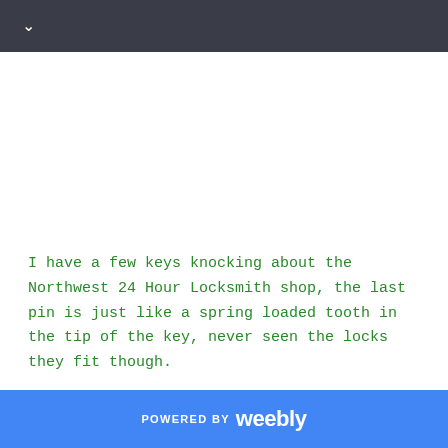∨
I have a few keys knocking about the Northwest 24 Hour Locksmith shop, the last pin is just like a spring loaded tooth in the tip of the key, never seen the locks they fit though.
POWERED BY weebly